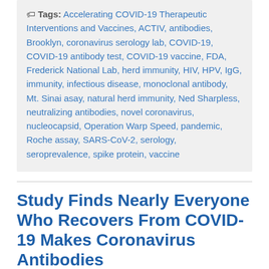Tags: Accelerating COVID-19 Therapeutic Interventions and Vaccines, ACTIV, antibodies, Brooklyn, coronavirus serology lab, COVID-19, COVID-19 antibody test, COVID-19 vaccine, FDA, Frederick National Lab, herd immunity, HIV, HPV, IgG, immunity, infectious disease, monoclonal antibody, Mt. Sinai asay, natural herd immunity, Ned Sharpless, neutralizing antibodies, novel coronavirus, nucleocapsid, Operation Warp Speed, pandemic, Roche assay, SARS-CoV-2, serology, seroprevalence, spike protein, vaccine
Study Finds Nearly Everyone Who Recovers From COVID-19 Makes Coronavirus Antibodies
Posted on May 7th, 2020 by Dr. Francis Collins
[Figure (photo): Partial image showing a red and gold decorative element on a reddish-brown background, bottom of page]